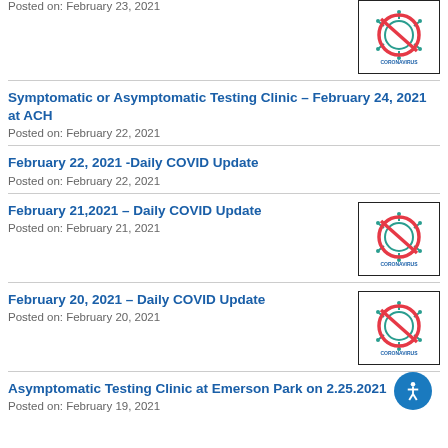Posted on: February 23, 2021
Symptomatic or Asymptomatic Testing Clinic – February 24, 2021 at ACH
Posted on: February 22, 2021
February 22, 2021 -Daily COVID Update
Posted on: February 22, 2021
February 21,2021 – Daily COVID Update
Posted on: February 21, 2021
February 20, 2021 – Daily COVID Update
Posted on: February 20, 2021
Asymptomatic Testing Clinic at Emerson Park on 2.25.2021
Posted on: February 19, 2021